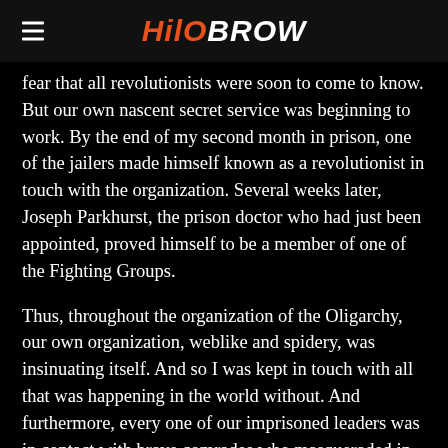HiloBrow
fear that all revolutionists were soon to come to know. But our own nascent secret service was beginning to work. By the end of my second month in prison, one of the jailers made himself known as a revolutionist in touch with the organization. Several weeks later, Joseph Parkhurst, the prison doctor who had just been appointed, proved himself to be a member of one of the Fighting Groups.
Thus, throughout the organization of the Oligarchy, our own organization, weblike and spidery, was insinuating itself. And so I was kept in touch with all that was happening in the world without. And furthermore, every one of our imprisoned leaders was in contact with brave comrades who masqueraded in the livery of the Iron Heel. Though Ernest lay in prison three thousand miles away, on the Pacific Coast, I was in unbroken communication with him, and better